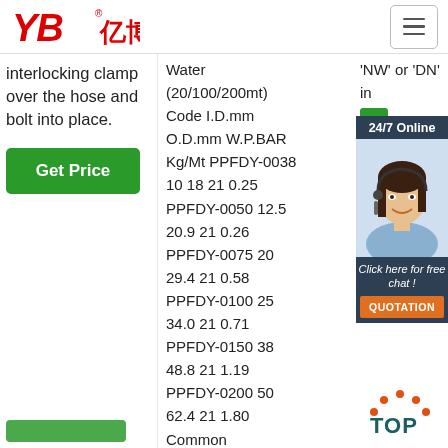[Figure (logo): YB亿博 company logo in red italic bold text]
interlocking clamp over the hose and bolt into place.
Get Price
Water (20/100/200mt) Code I.D.mm O.D.mm W.P.BAR Kg/Mt PPFDY-0038 10 18 21 0.25 PPFDY-0050 12.5 20.9 21 0.26 PPFDY-0075 20 29.4 21 0.58 PPFDY-0100 25 34.0 21 0.71 PPFDY-0150 38 48.8 21 1.19 PPFDY-0200 50 62.4 21 1.80 Common Applications Air ...
'NW' or 'DN'  in
[Figure (photo): Customer service agent woman with headset smiling]
24/7 Online
Click here for free chat !
QUOTATION
[Figure (illustration): TOP button icon with orange dots arc above the word TOP in dark teal]